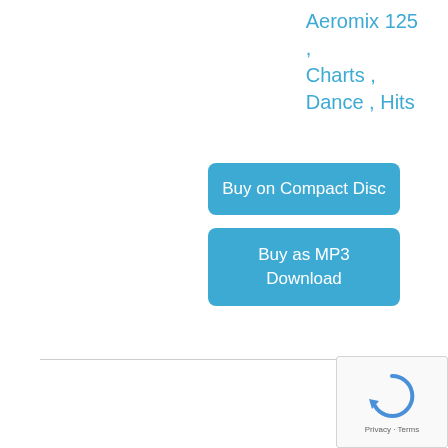Aeromix 125
,
Charts ,
Dance , Hits
Buy on Compact Disc
Buy as MP3 Download
[Figure (other): reCAPTCHA widget showing circular arrow logo and Privacy - Terms text]